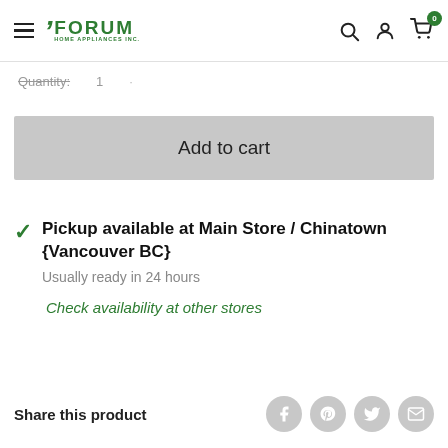Forum Home Appliances Inc. — navigation header with search, account, and cart icons
Quantity: 1
Add to cart
Pickup available at Main Store / Chinatown {Vancouver BC}
Usually ready in 24 hours
Check availability at other stores
Share this product